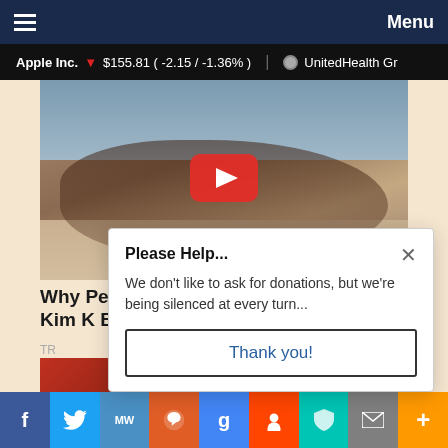≡  Menu
Apple Inc. ▼ $155.81 ( -2.15 / -1.36% )  ● UnitedHealth Gr
[Figure (photo): Woman in black bikini lying on beach with sunglasses, making peace sign. YouTube play button overlay visible.]
Why People Are Enraged About This Kim K Bikini Pic? Look Closer!
TR
[Figure (photo): Small red thumbnail image on left side]
[Figure (photo): Small dark thumbnail image on right side]
Please Help...
We don't like to ask for donations, but we're being silenced at every turn...
Thank you!
f  Twitter  MW  [share]  g  Reddit  [bookmark]  [mail]  +